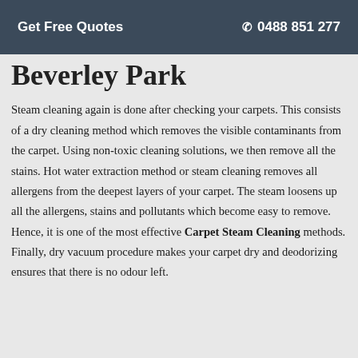Get Free Quotes   ✆ 0488 851 277
Beverley Park
Steam cleaning again is done after checking your carpets. This consists of a dry cleaning method which removes the visible contaminants from the carpet. Using non-toxic cleaning solutions, we then remove all the stains. Hot water extraction method or steam cleaning removes all allergens from the deepest layers of your carpet. The steam loosens up all the allergens, stains and pollutants which become easy to remove. Hence, it is one of the most effective Carpet Steam Cleaning methods. Finally, dry vacuum procedure makes your carpet dry and deodorizing ensures that there is no odour left.